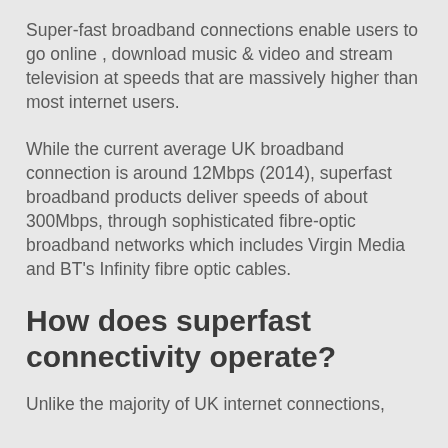Super-fast broadband connections enable users to go online , download music & video and stream television at speeds that are massively higher than most internet users.
While the current average UK broadband connection is around 12Mbps (2014), superfast broadband products deliver speeds of about 300Mbps, through sophisticated fibre-optic broadband networks which includes Virgin Media and BT's Infinity fibre optic cables.
How does superfast connectivity operate?
Unlike the majority of UK internet connections,